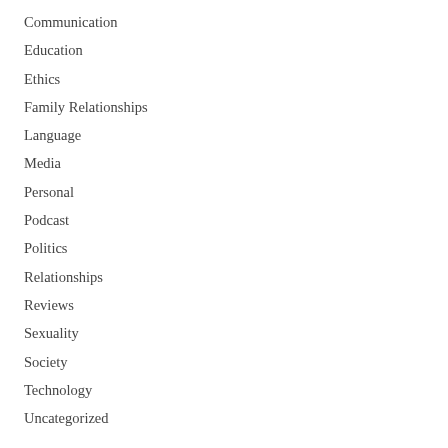Communication
Education
Ethics
Family Relationships
Language
Media
Personal
Podcast
Politics
Relationships
Reviews
Sexuality
Society
Technology
Uncategorized